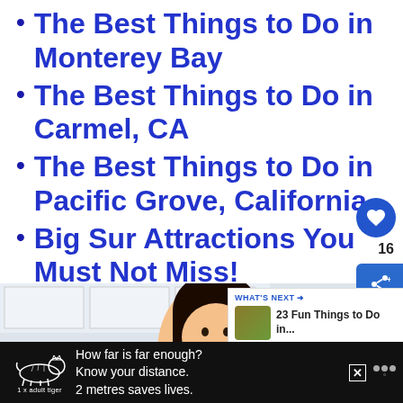The Best Things to Do in Monterey Bay
The Best Things to Do in Carmel, CA
The Best Things to Do in Pacific Grove, California
Big Sur Attractions You Must Not Miss!
[Figure (photo): Smiling woman at laptop in kitchen, with UI overlays: heart button (16 saves), share button, What's Next panel showing '23 Fun Things to Do in...']
[Figure (photo): Advertisement banner: tiger illustration with text 'How far is far enough? Know your distance. 2 metres saves lives.' and '1 x adult tiger' label]